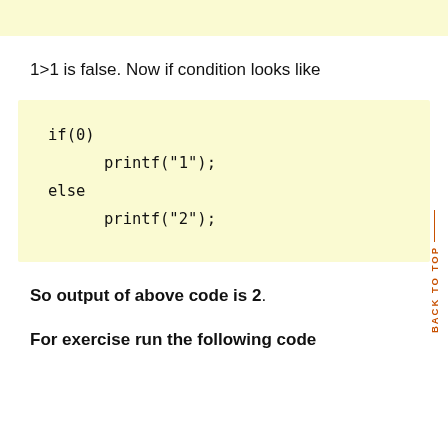1>1 is false. Now if condition looks like
if(0)
    printf("1");
else
    printf("2");
So output of above code is 2.
For exercise run the following code